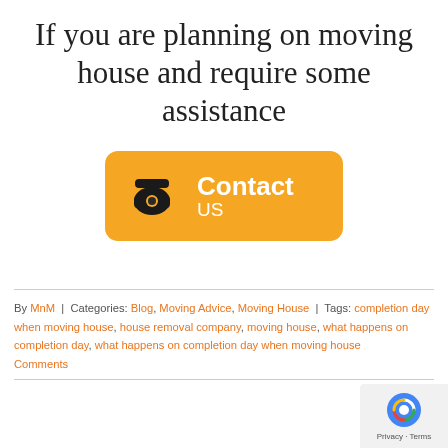If you are planning on moving house and require some assistance
[Figure (other): Orange rounded rectangle button with a telephone icon on the left and 'Contact US' text in white on the right]
By MnM  |  Categories: Blog, Moving Advice, Moving House  |  Tags: completion day when moving house, house removal company, moving house, what happens on completion day, what happens on completion day when moving house Comments